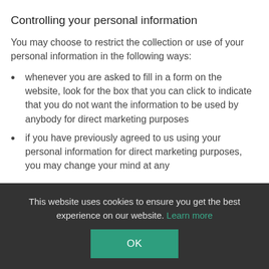Controlling your personal information
You may choose to restrict the collection or use of your personal information in the following ways:
whenever you are asked to fill in a form on the website, look for the box that you can click to indicate that you do not want the information to be used by anybody for direct marketing purposes
if you have previously agreed to us using your personal information for direct marketing purposes, you may change your mind at any
This website uses cookies to ensure you get the best experience on our website. Learn more
OK